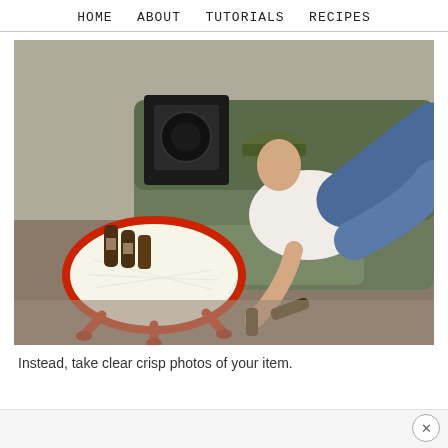HOME   ABOUT   TUTORIALS   RECIPES
[Figure (photo): A young man wearing a camo cap and white tank top lying on a green sofa with his arm reaching to the floor, holding a brown bottle. A red round table with several brown bottles on it is to his left, and a black amplifier is in the background. The setting appears to be a living room with carpet.]
Instead, take clear crisp photos of your item.